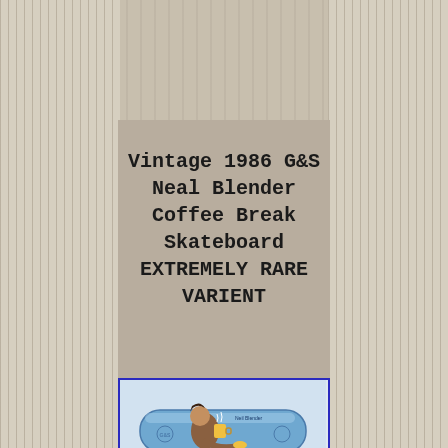Vintage 1986 G&S Neal Blender Coffee Break Skateboard EXTREMELY RARE VARIENT
[Figure (photo): Vintage 1986 G&S Neal Blender Coffee Break skateboard deck in blue with cartoon artwork, still in plastic wrap. eBay watermark visible. Blue border around image.]
[Figure (photo): Second photo of the same or similar skateboard deck, partially visible at bottom of page, showing close-up of the graphic. Blue border around image.]